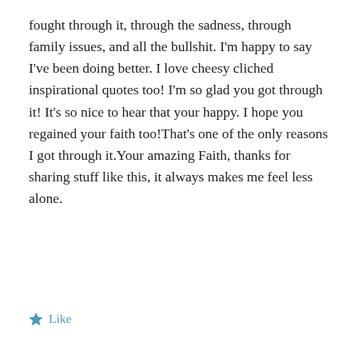fought through it, through the sadness, through family issues, and all the bullshit. I'm happy to say I've been doing better. I love cheesy cliched inspirational quotes too! I'm so glad you got through it! It's so nice to hear that your happy. I hope you regained your faith too!That's one of the only reasons I got through it.Your amazing Faith, thanks for sharing stuff like this, it always makes me feel less alone.
Like
Reply
Jamie
[Figure (other): Advertisement banner: Launch your online course with WordPress. Learn More button.]